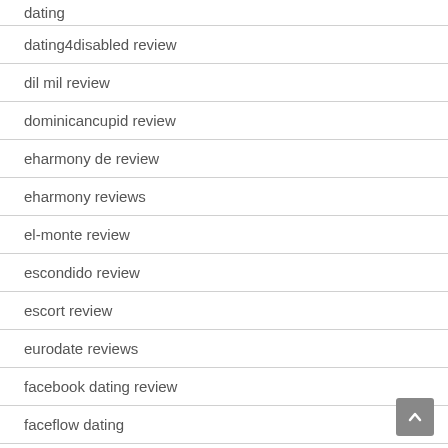dating
dating4disabled review
dil mil review
dominicancupid review
eharmony de review
eharmony reviews
el-monte review
escondido review
escort review
eurodate reviews
facebook dating review
faceflow dating
fetlife sign in